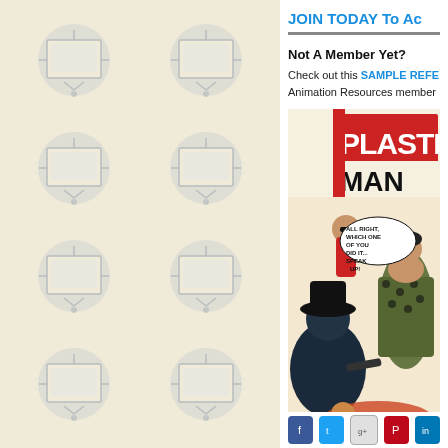[Figure (illustration): Decorative repeating pattern of monitor/TV screen icons on a beige/cream background, arranged in a 2-column grid]
JOIN TODAY To Ac
Not A Member Yet?
Check out this SAMPLE REFE
Animation Resources member
[Figure (illustration): Comic book cover showing Plastic Man in red costume, with speech bubble saying 'ALL RIGHT, WHICH ONE OF YOU DID IT... SPEAK UP!' and figures including a man in a hat with a gun and a woman in a polka dot dress]
[Figure (other): Social media icon bar with Facebook, Twitter, Google+, Pinterest, and LinkedIn icons]